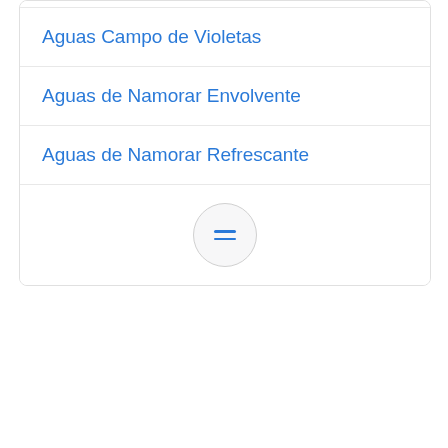Aguas Campo de Violetas
Aguas de Namorar Envolvente
Aguas de Namorar Refrescante
[Figure (illustration): A circular button with two horizontal lines (hamburger/menu icon) in blue on a light grey background]